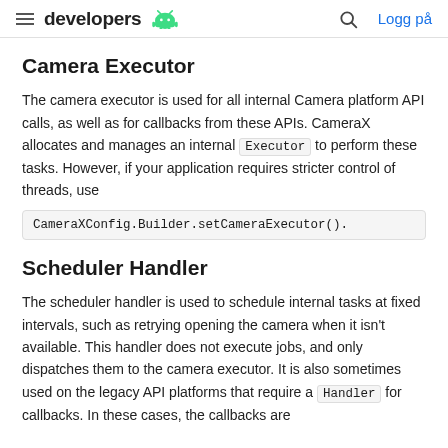developers [android logo] | Logg på
Camera Executor
The camera executor is used for all internal Camera platform API calls, as well as for callbacks from these APIs. CameraX allocates and manages an internal Executor to perform these tasks. However, if your application requires stricter control of threads, use CameraXConfig.Builder.setCameraExecutor().
Scheduler Handler
The scheduler handler is used to schedule internal tasks at fixed intervals, such as retrying opening the camera when it isn't available. This handler does not execute jobs, and only dispatches them to the camera executor. It is also sometimes used on the legacy API platforms that require a Handler for callbacks. In these cases, the callbacks are